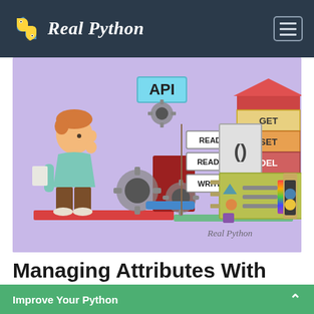Real Python
[Figure (illustration): Illustrated promotional image for Real Python article about Python's property(). Shows a character looking at signs reading READ ONLY, READ WRITE, WRITE ONLY, with mechanical gears, an API sign, a WiFi symbol, parentheses (), GET/SET/DEL labels, Python logo chip, and Real Python watermark.]
Managing Attributes With Python's property()
Improve Your Python